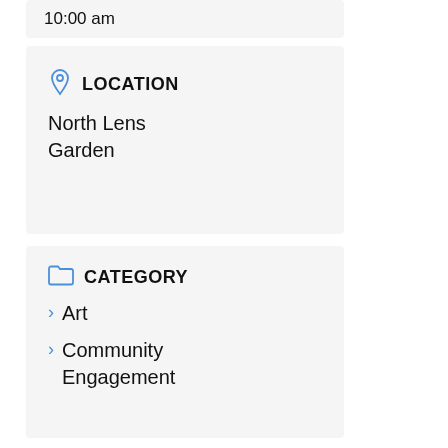10:00 am
LOCATION
North Lens Garden
CATEGORY
Art
Community Engagement